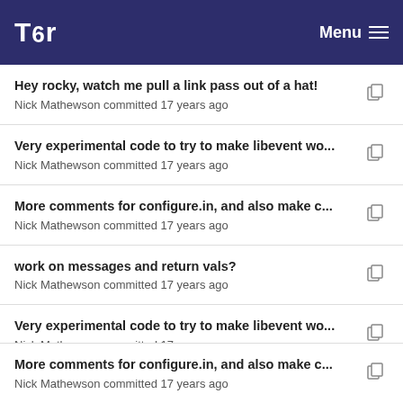Tor Menu
Hey rocky, watch me pull a link pass out of a hat!
Nick Mathewson committed 17 years ago
Very experimental code to try to make libevent wo...
Nick Mathewson committed 17 years ago
More comments for configure.in, and also make c...
Nick Mathewson committed 17 years ago
work on messages and return vals?
Nick Mathewson committed 17 years ago
Very experimental code to try to make libevent wo...
Nick Mathewson committed 17 years ago
More comments for configure.in, and also make c...
Nick Mathewson committed 17 years ago